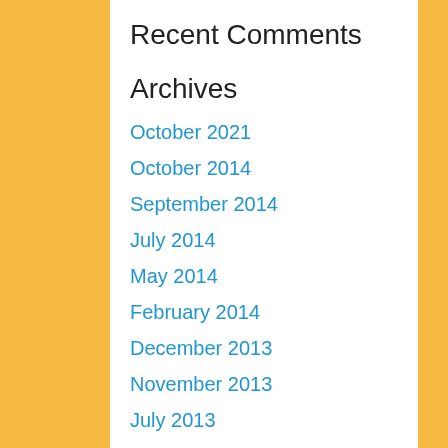Recent Comments
Archives
October 2021
October 2014
September 2014
July 2014
May 2014
February 2014
December 2013
November 2013
July 2013
April 2013
March 2013